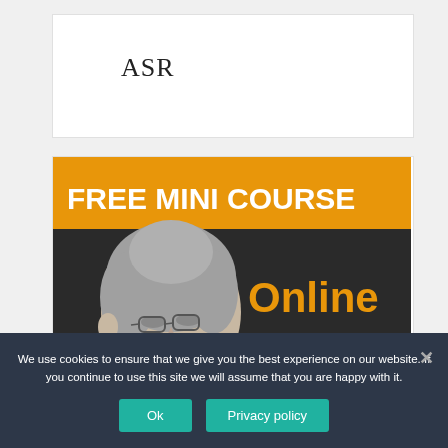ASR
[Figure (infographic): Promotional banner for a Free Mini Course on Online Retirement with an illustration of an elderly woman with grey hair and glasses]
We use cookies to ensure that we give you the best experience on our website. If you continue to use this site we will assume that you are happy with it.
Ok
Privacy policy